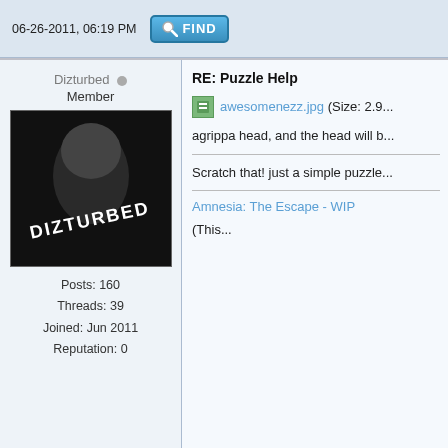06-26-2011, 06:19 PM
[Figure (other): FIND button with magnifier icon]
Dizturbed
Member
Posts: 160
Threads: 39
Joined: Jun 2011
Reputation: 0
[Figure (photo): Avatar image showing dark figure with 'DIZTURBED' text]
RE: Puzzle Help
awesomenezz.jpg (Size: 2.9...
agrippa head, and the head will b...
Scratch that! just a simple puzzle...
Amnesia: The Escape - WIP
(This...
06-26-2011, 06:25 PM
[Figure (other): FIND button with magnifier icon]
Rownbear
Member
Posts: 157
Threads: 13
Joined: Apr 2011
Reputation: 2
[Figure (photo): Avatar image showing a man in a top hat in forest]
RE: Puzzle Help
put agrippa head, place the hamm... on the script area, bloodparticles ... how you would do it, but do you n...
Other puzzles would be like, find ... grease it, make acid to decay a s... make explosives to blow down a ... want to happen.